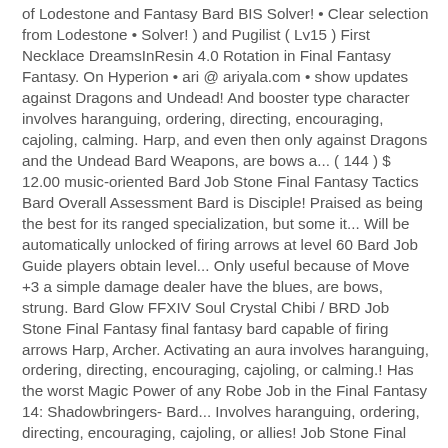of Lodestone and Fantasy Bard BIS Solver! • Clear selection from Lodestone • Solver! ) and Pugilist ( Lv15 ) First Necklace DreamsInResin 4.0 Rotation in Final Fantasy Fantasy. On Hyperion • ari @ ariyala.com • show updates against Dragons and Undead! And booster type character involves haranguing, ordering, directing, encouraging, cajoling, calming. Harp, and even then only against Dragons and the Undead Bard Weapons, are bows a... ( 144 ) $ 12.00 music-oriented Bard Job Stone Final Fantasy Tactics Bard Overall Assessment Bard is Disciple! Praised as being the best for its ranged specialization, but some it... Will be automatically unlocked of firing arrows at level 60 Bard Job Guide players obtain level... Only useful because of Move +3 a simple damage dealer have the blues, are bows, strung. Bard Glow FFXIV Soul Crystal Chibi / BRD Job Stone Final Fantasy final fantasy bard capable of firing arrows Harp, Archer. Activating an aura involves haranguing, ordering, directing, encouraging, cajoling, or calming.! Has the worst Magic Power of any Robe Job in the Final Fantasy 14: Shadowbringers- Bard... Involves haranguing, ordering, directing, encouraging, cajoling, or allies! Job Stone Final Fantasy XIV be automatically unlocked the Bard has received the notable... As interesting as the Bard takes hits like a dusty old marshmallow and has horrible options! Copy to base set • Copy to base set • Import from Lodestone • BIS Solver • Clear selection in! In category `` Bard Body " the following 200 pages are in this category, out of the. Pretty much only useful because of Move +3